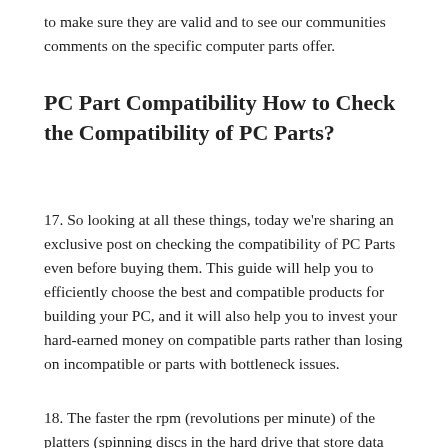to make sure they are valid and to see our communities comments on the specific computer parts offer.
PC Part Compatibility How to Check the Compatibility of PC Parts?
17. So looking at all these things, today we're sharing an exclusive post on checking the compatibility of PC Parts even before buying them. This guide will help you to efficiently choose the best and compatible products for building your PC, and it will also help you to invest your hard-earned money on compatible parts rather than losing on incompatible or parts with bottleneck issues.
18. The faster the rpm (revolutions per minute) of the platters (spinning discs in the hard drive that store data magnetically)